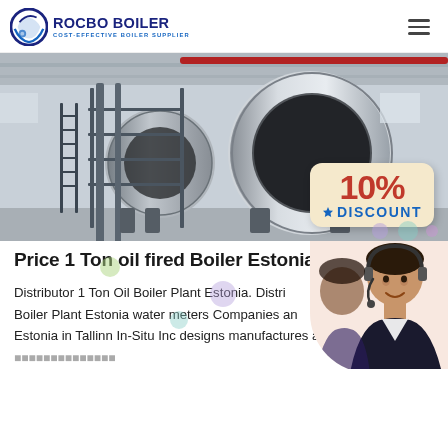[Figure (logo): Rocbo Boiler logo with circular icon and text 'ROCBO BOILER / COST-EFFECTIVE BOILER SUPPLIER']
[Figure (photo): Industrial boiler plant photo showing large cylindrical oil-fired boilers in a factory setting, with a 10% DISCOUNT badge overlay in the bottom right corner]
Price 1 Ton oil fired Boiler Estonia
[Figure (photo): Customer service representative woman wearing a headset, smiling, positioned in the lower right area]
Distributor 1 Ton Oil Boiler Plant Estonia. Distributor 1 Ton Oil Boiler Plant Estonia water meters Companies and ... Estonia in Tallinn In-Situ Inc designs manufactures and rents water ...